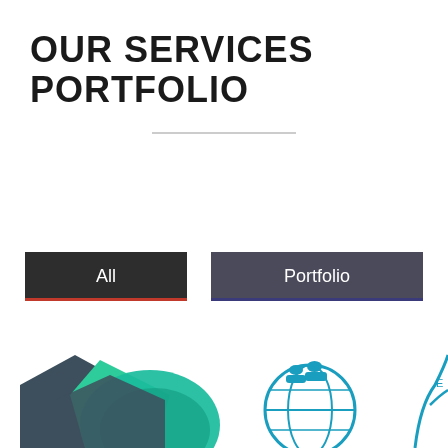OUR SERVICES PORTFOLIO
[Figure (illustration): Decorative horizontal divider line]
[Figure (illustration): Two dark buttons labeled 'All' and 'Portfolio' with colored bottom borders (red and dark blue respectively)]
[Figure (illustration): Partial view of service portfolio illustrations including a green geometric shape with teal leaf/umbrella, a teal globe with figures icon, and a partial blue plant/graph icon on the right edge]